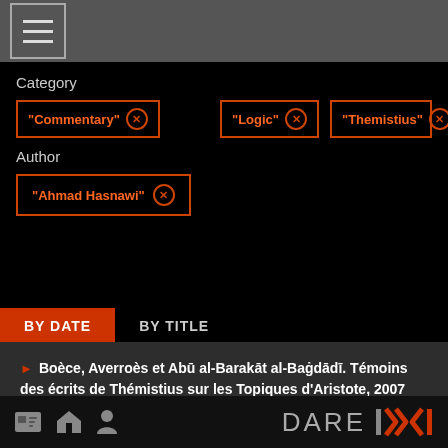Category
"Commentary" ×
"Logic" ×
"Themistius" ×
Author
"Ahmad Hasnawi" ×
BY DATE | BY TITLE
Boèce, Averroès et Abū al-Barakāt al-Baġdādī. Témoins des écrits de Thémistius sur les Topiques d'Aristote, 2007
By: Ahmad Hasnawi
DARE